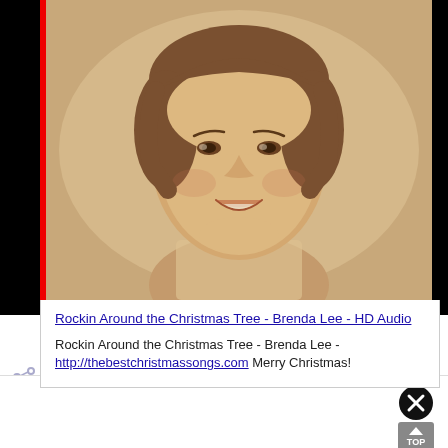[Figure (photo): Sepia-toned portrait photo of a young woman (Brenda Lee) smiling, with short brown hair, shown from shoulders up against a light background. The photo is displayed inside a black video player thumbnail with a red vertical bar on the left side.]
Rockin Around the Christmas Tree - Brenda Lee - HD Audio
Rockin Around the Christmas Tree - Brenda Lee - http://thebestchristmassongs.com Merry Christmas!
[Figure (screenshot): Action bar with share icon, heart icon, bookmark icon, Reply button, and dropdown arrow button. All icons in light purple/lavender color.]
[Figure (other): Close (X) button circle icon in black, and a gray TOP button with upward arrow.]